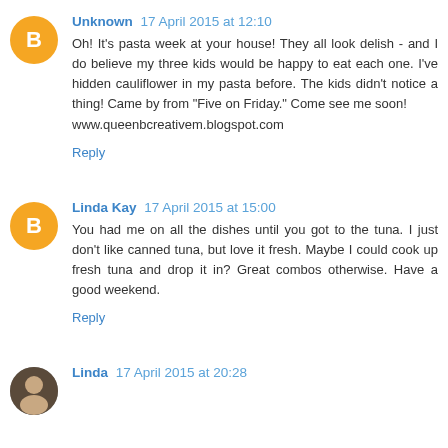Unknown 17 April 2015 at 12:10
Oh! It's pasta week at your house! They all look delish - and I do believe my three kids would be happy to eat each one. I've hidden cauliflower in my pasta before. The kids didn't notice a thing! Came by from "Five on Friday." Come see me soon!
www.queenbcreativem.blogspot.com
Reply
Linda Kay 17 April 2015 at 15:00
You had me on all the dishes until you got to the tuna. I just don't like canned tuna, but love it fresh. Maybe I could cook up fresh tuna and drop it in? Great combos otherwise. Have a good weekend.
Reply
Linda 17 April 2015 at 20:28